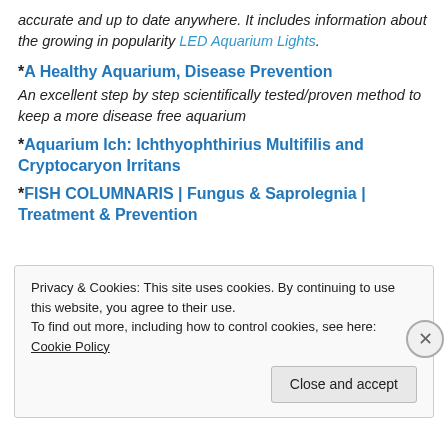accurate and up to date anywhere. It includes information about the growing in popularity LED Aquarium Lights.
*A Healthy Aquarium, Disease Prevention
An excellent step by step scientifically tested/proven method to keep a more disease free aquarium
*Aquarium Ich: Ichthyophthirius Multifilis and Cryptocaryon Irritans
*FISH COLUMNARIS | Fungus & Saprolegnia | Treatment & Prevention
Privacy & Cookies: This site uses cookies. By continuing to use this website, you agree to their use. To find out more, including how to control cookies, see here: Cookie Policy